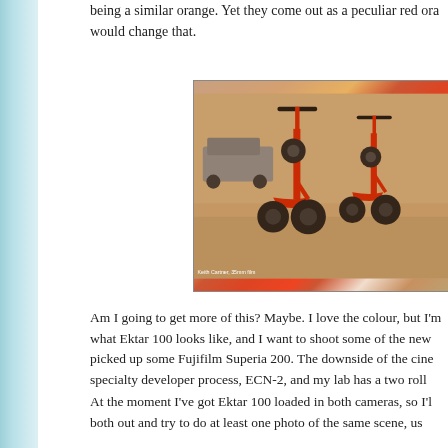being a similar orange. Yet they come out as a peculiar red ora would change that.
[Figure (photo): Two red electric scooters (Uber JUMP or similar) parked on a sidewalk/street, photographed on 35mm film. The image has a warm, slightly reddish-orange tone characteristic of film photography. Photo credit: Keith Cartner, 35mm film.]
Am I going to get more of this? Maybe. I love the colour, but I'm what Ektar 100 looks like, and I want to shoot some of the new picked up some Fujifilm Superia 200. The downside of the cine specialty developer process, ECN-2, and my lab has a two roll
At the moment I've got Ektar 100 loaded in both cameras, so I'l both out and try to do at least one photo of the same scene, us